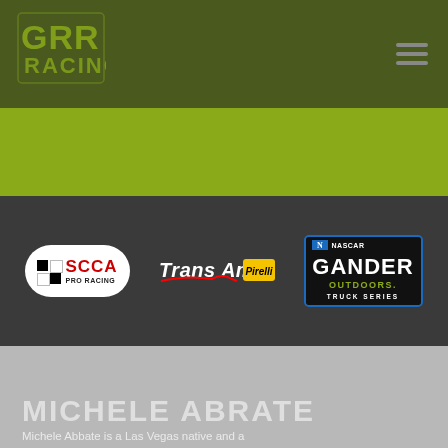[Figure (logo): GRR Racing logo - green text on dark olive green header background]
[Figure (logo): Hamburger menu icon (three horizontal lines) in top right of header]
[Figure (logo): SCCA Pro Racing logo - white oval badge with checkered flag and red text]
[Figure (logo): Trans Am Pirelli logo - stylized Trans Am text in white/red with Pirelli yellow badge]
[Figure (logo): NASCAR Gander Outdoors Truck Series logo - blue bordered dark box]
MICHELE ABRATE
Michele Abbate is a Las Vegas native and a